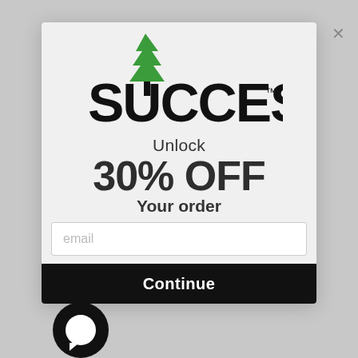[Figure (screenshot): Modal popup overlay on a blurred/greyed website background. Shows the SUCCESS brand logo with a green pine tree, promotional text '30% OFF', an email input field, and a Continue button.]
SUCCESS™
Unlock
30% OFF
Your order
email
Continue